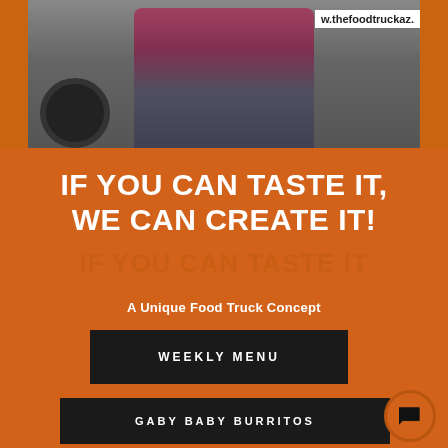[Figure (photo): Photo of a person standing in front of a food truck with arms crossed, wearing a dark apron. Truck URL visible: www.thefoodtruckaz.]
IF YOU CAN TASTE IT, WE CAN CREATE IT!
A Unique Food Truck Concept
WEEKLY MENU
GABY BABY BURRITOS